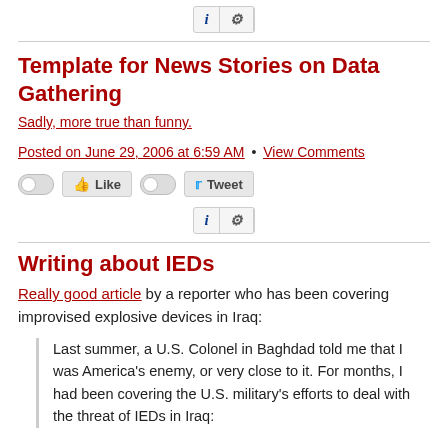[Figure (screenshot): Info/settings widget button bar at top]
Template for News Stories on Data Gathering
Sadly, more true than funny.
Posted on June 29, 2006 at 6:59 AM • View Comments
[Figure (screenshot): Social sharing buttons: Like and Tweet with toggle switches]
[Figure (screenshot): Info/settings widget button bar middle]
Writing about IEDs
Really good article by a reporter who has been covering improvised explosive devices in Iraq:
Last summer, a U.S. Colonel in Baghdad told me that I was America's enemy, or very close to it. For months, I had been covering the U.S. military's efforts to deal with the threat of IEDs in Iraq...